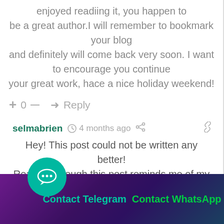enjoyed readiing it, you happen to be a great author.I will remember to bookmark your blog and definitely will come back very soon. I want to encourage you continue your great work, hace a nice holiday weekend!
+ 0 — ➜ Reply
selmabrien  4 months ago
Hey! This post could not be written any better! Reading through this post reminds me of my good old room mate! He always kept chatting about this. I will forward
Contact Telegram   Contact WhatsApp